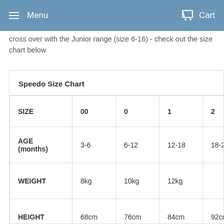Menu   Cart
cross over with the Junior range (size 6-16) - check out the size chart below
| SIZE | 00 | 0 | 1 | 2 | 3 |
| --- | --- | --- | --- | --- | --- |
| AGE (months) | 3-6 | 6-12 | 12-18 | 18-24 | 24-36 |
| WEIGHT | 8kg | 10kg | 12kg |  |  |
| HEIGHT | 68cm | 76cm | 84cm | 92cm | 100cm |
| CHEST |  |  | 54cm | 56cm | 58cm |